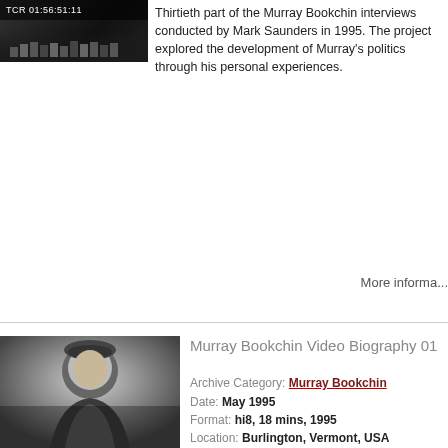[Figure (screenshot): Video thumbnail showing TCR 01:56:51:11 timecode on dark background]
Thirtieth part of the Murray Bookchin interviews conducted by Mark Saunders in 1995. The project explored the development of Murray's politics through his personal experiences.
More informa...
[Figure (photo): Black and white photograph of Murray Bookchin, an elderly man wearing a beret and dark jacket]
Murray Bookchin Video Biography 01
Archive Category: Murray Bookchin
Date: May 1995
Format: hi8, 18 mins, 1995
Location: Burlington, Vermont, USA
First part of the Murray Bookchin interviews conducted by Mark Saunders in 1995. The project was to explore the development of Murray's politics through his personal experiences.
These interviews together with archive and other visual
More informa...